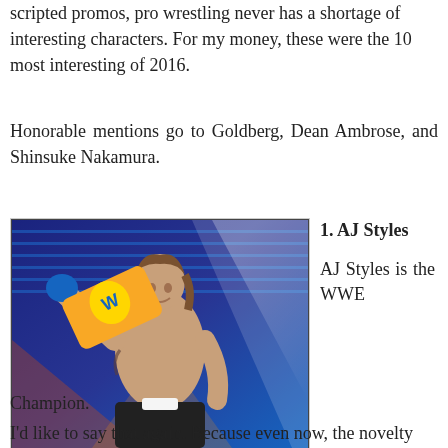scripted promos, pro wrestling never has a shortage of interesting characters. For my money, these were the 10 most interesting of 2016.
Honorable mentions go to Goldberg, Dean Ambrose, and Shinsuke Nakamura.
[Figure (photo): AJ Styles holding WWE Championship belt, smiling, in front of a blue LED backdrop]
1. AJ Styles

AJ Styles is the WWE
Champion.
I'd like to say that again. Because even now, the novelty